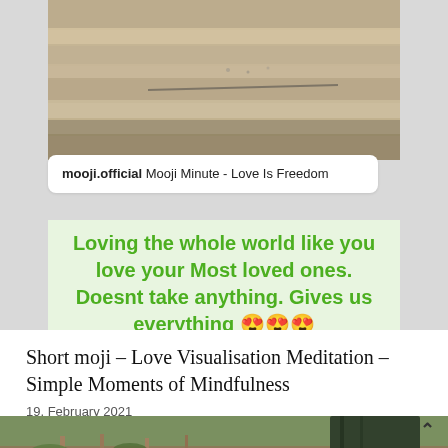[Figure (screenshot): Social media post screenshot showing a stone/sandy texture image at top, a white caption box with 'mooji.official Mooji Minute - Love Is Freedom', and a light green background with bold green text: 'Loving the whole world like you love your Most loved ones. Doesnt take anything. Gives us everything 😍😍😍']
Short moji – Love Visualisation Meditation – Simple Moments of Mindfulness
19. February 2021
[Figure (photo): Outdoor photo showing a trench or ditch in dry ground with sticks/posts, green scrubby vegetation, and a dark green tarp or fabric on the right side. A back-arrow icon is visible in the top right.]